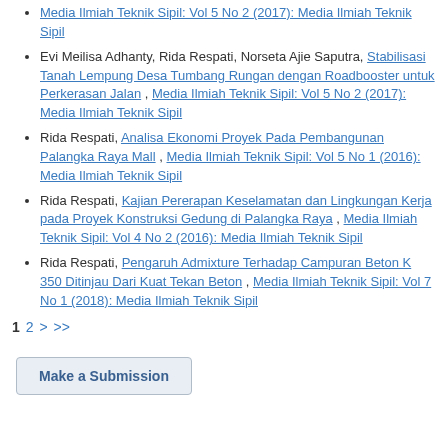Media Ilmiah Teknik Sipil: Vol 5 No 2 (2017): Media Ilmiah Teknik Sipil
Evi Meilisa Adhanty, Rida Respati, Norseta Ajie Saputra, Stabilisasi Tanah Lempung Desa Tumbang Rungan dengan Roadbooster untuk Perkerasan Jalan , Media Ilmiah Teknik Sipil: Vol 5 No 2 (2017): Media Ilmiah Teknik Sipil
Rida Respati, Analisa Ekonomi Proyek Pada Pembangunan Palangka Raya Mall , Media Ilmiah Teknik Sipil: Vol 5 No 1 (2016): Media Ilmiah Teknik Sipil
Rida Respati, Kajian Pererapan Keselamatan dan Lingkungan Kerja pada Proyek Konstruksi Gedung di Palangka Raya , Media Ilmiah Teknik Sipil: Vol 4 No 2 (2016): Media Ilmiah Teknik Sipil
Rida Respati, Pengaruh Admixture Terhadap Campuran Beton K 350 Ditinjau Dari Kuat Tekan Beton , Media Ilmiah Teknik Sipil: Vol 7 No 1 (2018): Media Ilmiah Teknik Sipil
1 2 > >>
Make a Submission